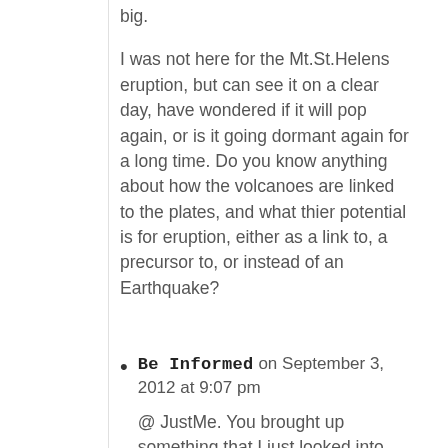big.
I was not here for the Mt.St.Helens eruption, but can see it on a clear day, have wondered if it will pop again, or is it going dormant again for a long time. Do you know anything about how the volcanoes are linked to the plates, and what thier potential is for eruption, either as a link to, a precursor to, or instead of an Earthquake?
Be Informed on September 3, 2012 at 9:07 pm
@ JustMe. You brought up something that I just looked into about volcanic action. You have to be aware of of course Mt. Hood, but other volcanoes have erupted at times of large earthquakes. 1857 earthquake on San Andreas; Mt Rainer